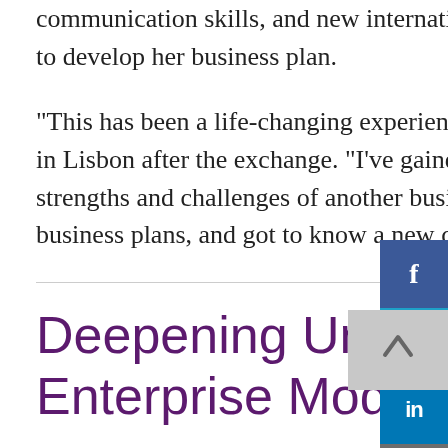fully benefited from new contacts, improved communication skills, and new international funding opportunities, as well as support to develop her business plan.
“This has been a life-changing experience”, says the young entrepreneur, who stayed in Lisbon after the exchange. “I’ve gained a really deep insight into the structure, strengths and challenges of another business, taken time out to focus on my own business plans, and got to know a new country, city, language and culture.”
Deepening Understanding Of Social Enterprise Models